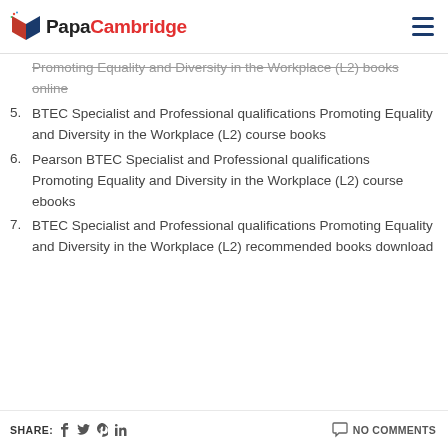PapaCambridge
Promoting Equality and Diversity in the Workplace (L2) books online
5. BTEC Specialist and Professional qualifications Promoting Equality and Diversity in the Workplace (L2) course books
6. Pearson BTEC Specialist and Professional qualifications Promoting Equality and Diversity in the Workplace (L2) course ebooks
7. BTEC Specialist and Professional qualifications Promoting Equality and Diversity in the Workplace (L2) recommended books download
SHARE: NO COMMENTS